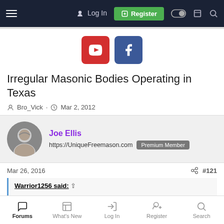Navigation bar with Log In, Register, and other icons
[Figure (logo): YouTube and Facebook social media icon buttons]
Irregular Masonic Bodies Operating in Texas
Bro_Vick · Mar 2, 2012
Joe Ellis
https://UniqueFreemason.com  Premium Member
Mar 26, 2016  #121
Warrior1256 said: ↑

On this subject my feeling is "To each his own". If someone wants to belong to a clandestine co-mason lodge I have no problem with it,
Forums  What's New  Log In  Register  Search